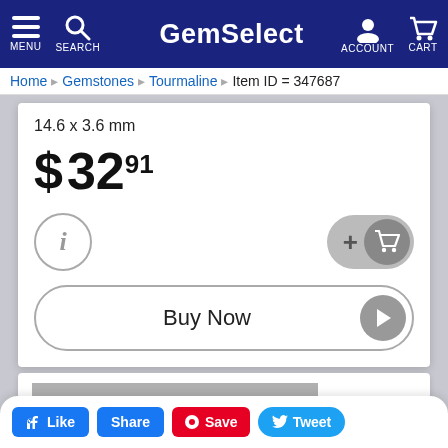GemSelect — MENU, SEARCH, ACCOUNT, CART
Home  Gemstones  Tourmaline  Item ID = 347687
14.6 x 3.6 mm
$ 32 91
[Figure (screenshot): Info circle button and Add to Cart button]
[Figure (screenshot): Buy Now button with play arrow]
[Figure (screenshot): Gray placeholder image area]
Like  Share  Save  Tweet